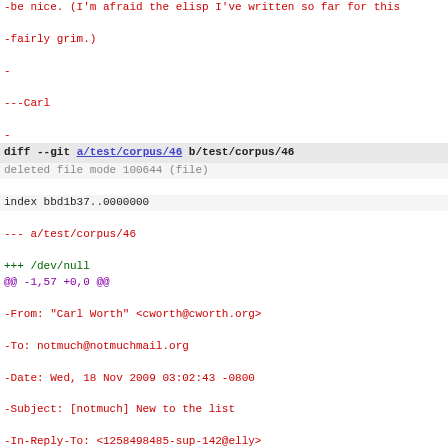-be nice. (I'm afraid the elisp I've written so far for this
-fairly grim.)
-
---Carl
-
diff --git a/test/corpus/46 b/test/corpus/46
deleted file mode 100644 (file)
index bbd1b37..0000000
--- a/test/corpus/46
+++ /dev/null
@@ -1,57 +0,0 @@
-From: "Carl Worth" <cworth@cworth.org>
-To: notmuch@notmuchmail.org
-Date: Wed, 18 Nov 2009 03:02:43 -0800
-Subject: [notmuch] New to the list
-In-Reply-To: <1258498485-sup-142@elly>
-References: <1258498485-sup-142@elly>
-Message-ID: <87bpj0qeng.fsf@yoom.home.cworth.org>
-
-On Tue, 17 Nov 2009 23:57:18 +0100, Israel Herraiz <isra at
-> I have subscribed to the list. As suggested by the welcom
-> am introducing myself. My name is Israel Herraiz, and I h
-> couple of contributions to Sup, the probably well-known h
-> client.
-
-Welcome, Israel!
-
-I'm glad people read that little bit of text in the welcome
-are introducing themselves. I like to think of our new notm
-as a very personable place.